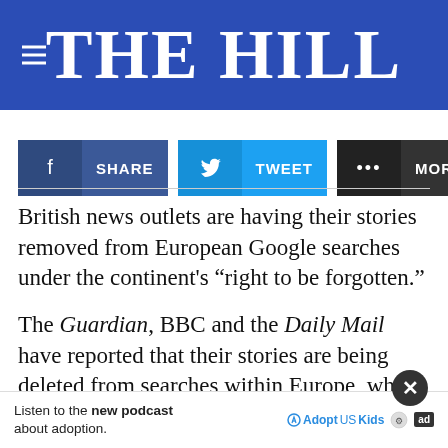THE HILL
[Figure (infographic): Social sharing buttons: Facebook SHARE, Twitter TWEET, and MORE]
British news outlets are having their stories removed from European Google searches under the continent's “right to be forgotten.”
The Guardian, BBC and the Daily Mail have reported that their stories are being deleted from searches within Europe, which w[orrי...] [...]
[Figure (infographic): Advertisement overlay: Listen to the new podcast about adoption. AdoptUSKids ad badge.]